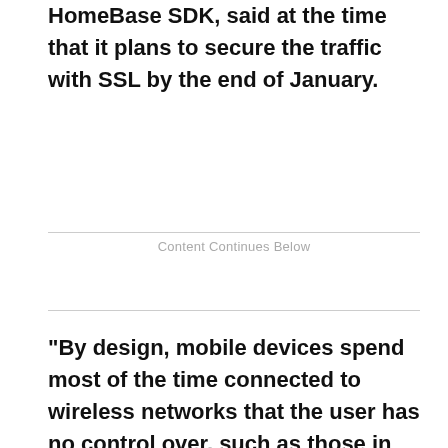HomeBase SDK, said at the time that it plans to secure the traffic with SSL by the end of January.
Content Continues Below
"By design, mobile devices spend most of the time connected to wireless networks that the user has no control over, such as those in coffee shops, airports and so on," Botezatu said. "More than that, anybody can set up a rogue access point with no security set in place, lure the nearby users into connecting to it and then intercept or manipulate traffic. Man-in-the-